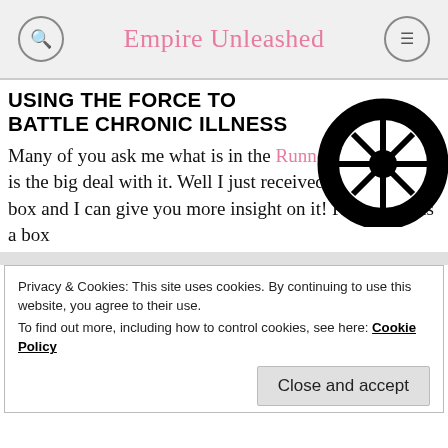Empire Unleashed
USING THE FORCE TO BATTLE CHRONIC ILLNESS
[Figure (logo): Star Wars Galactic Empire circular logo in black and white]
Many of you ask me what is in the Runnerbox and what is the big deal with it. Well I just received my June/July box and I can give you more insight on it! Runnerbox is a box
Privacy & Cookies: This site uses cookies. By continuing to use this website, you agree to their use.
To find out more, including how to control cookies, see here: Cookie Policy
Close and accept